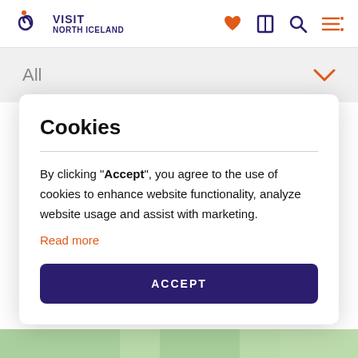VISIT NORTH ICELAND
All
Cookies
By clicking "Accept", you agree to the use of cookies to enhance website functionality, analyze website usage and assist with marketing.
Read more
ACCEPT